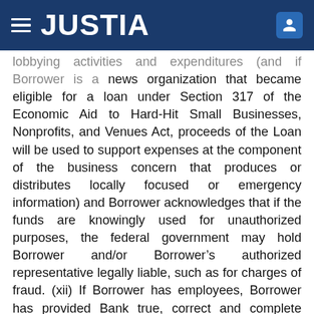JUSTIA
lobbying activities and expenditures (and if Borrower is a news organization that became eligible for a loan under Section 317 of the Economic Aid to Hard-Hit Small Businesses, Nonprofits, and Venues Act, proceeds of the Loan will be used to support expenses at the component of the business concern that produces or distributes locally focused or emergency information) and Borrower acknowledges that if the funds are knowingly used for unauthorized purposes, the federal government may hold Borrower and/or Borrower’s authorized representative legally liable, such as for charges of fraud. (xii) If Borrower has employees, Borrower has provided Bank true, correct and complete information demonstrating that Borrower had employees for whom Borrower paid salaries and payroll taxes on or around February 15, 2020, and if Borrower is an Individual Applicant without employees, Borrower